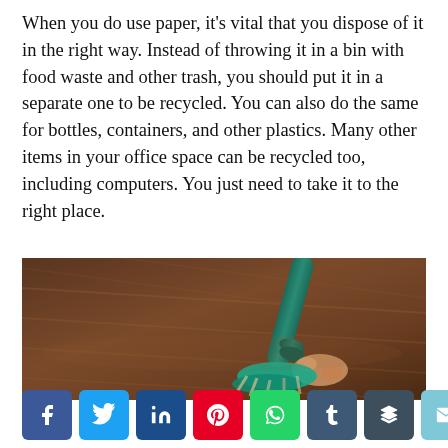When you do use paper, it's vital that you dispose of it in the right way. Instead of throwing it in a bin with food waste and other trash, you should put it in a separate one to be recycled. You can also do the same for bottles, containers, and other plastics. Many other items in your office space can be recycled too, including computers. You just need to take it to the right place.
[Figure (photo): A close-up photo of a teal/green mop cleaning a dark hardwood floor, with someone's hand visible gripping the mop handle.]
[Figure (infographic): A row of 8 social media share buttons: Facebook (blue), Twitter (light blue), LinkedIn (dark blue), Pinterest (red), WhatsApp (green), Tumblr (dark slate), Buffer (dark), Email (teal/cyan).]